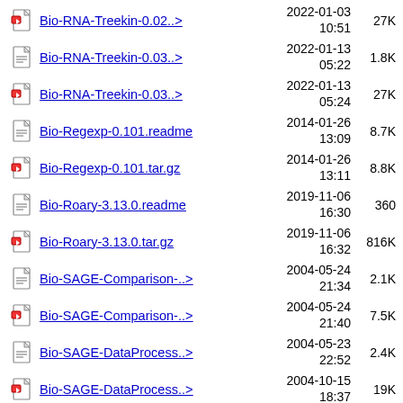Bio-RNA-Treekin-0.02..> 2022-01-03 10:51 27K
Bio-RNA-Treekin-0.03..> 2022-01-13 05:22 1.8K
Bio-RNA-Treekin-0.03..> 2022-01-13 05:24 27K
Bio-Regexp-0.101.readme 2014-01-26 13:09 8.7K
Bio-Regexp-0.101.tar.gz 2014-01-26 13:11 8.8K
Bio-Roary-3.13.0.readme 2019-11-06 16:30 360
Bio-Roary-3.13.0.tar.gz 2019-11-06 16:32 816K
Bio-SAGE-Comparison-..> 2004-05-24 21:34 2.1K
Bio-SAGE-Comparison-..> 2004-05-24 21:40 7.5K
Bio-SAGE-DataProcess..> 2004-05-23 22:52 2.4K
Bio-SAGE-DataProcess..> 2004-10-15 18:37 19K
Bio-SGE-1.02..readme 2006-01-30 ...